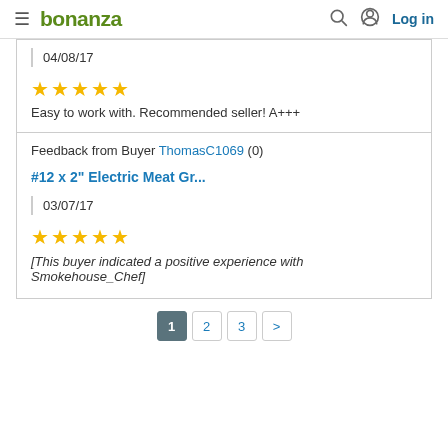bonanza — Log in
04/08/17
★★★★★
Easy to work with. Recommended seller! A+++
Feedback from Buyer ThomasC1069 (0)
#12 x 2" Electric Meat Gr...
03/07/17
★★★★★
[This buyer indicated a positive experience with Smokehouse_Chef]
1 2 3 >